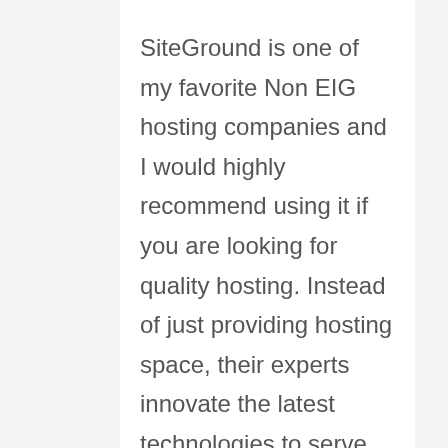SiteGround is one of my favorite Non EIG hosting companies and I would highly recommend using it if you are looking for quality hosting. Instead of just providing hosting space, their experts innovate the latest technologies to serve seamless services. They also have an in-house build SuperCacher features that